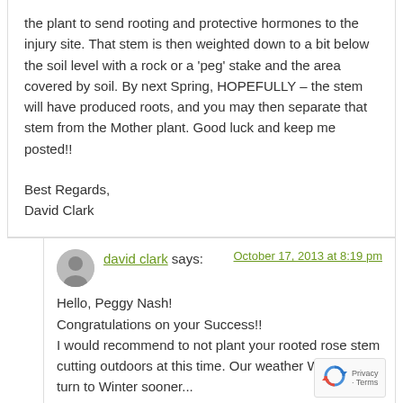the plant to send rooting and protective hormones to the injury site. That stem is then weighted down to a bit below the soil level with a rock or a 'peg' stake and the area covered by soil. By next Spring, HOPEFULLY – the stem will have produced roots, and you may then separate that stem from the Mother plant. Good luck and keep me posted!!
Best Regards,
David Clark
david clark says:
October 17, 2013 at 8:19 pm
Hello, Peggy Nash!
Congratulations on your Success!!
I would recommend to not plant your rooted rose stem cutting outdoors at this time. Our weather WILL take a turn to Winter sooner...